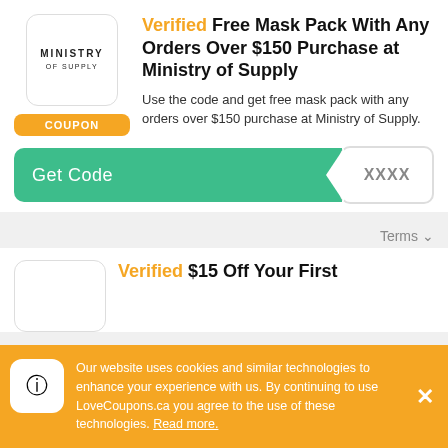[Figure (logo): Ministry of Supply logo in a rounded rectangle box]
Verified Free Mask Pack With Any Orders Over $150 Purchase at Ministry of Supply
Use the code and get free mask pack with any orders over $150 purchase at Ministry of Supply.
Get Code  XXXX
Terms
Verified $15 Off Your First
Our website uses cookies and similar technologies to enhance your experience with us. By continuing to use LoveCoupons.ca you agree to the use of these technologies. Read more.